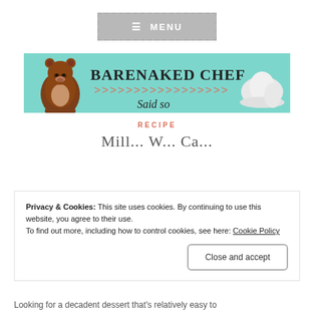[Figure (screenshot): Navigation menu button with hamburger icon and MENU text, grey background with dashed border]
[Figure (logo): Barenaked Chef Said so logo banner on teal/mint background with bear illustration, chef hat, and chevron arrows]
RECIPE
Mill... W... Ca...
Privacy & Cookies: This site uses cookies. By continuing to use this website, you agree to their use. To find out more, including how to control cookies, see here: Cookie Policy
Close and accept
Looking for a decadent dessert that's relatively easy to